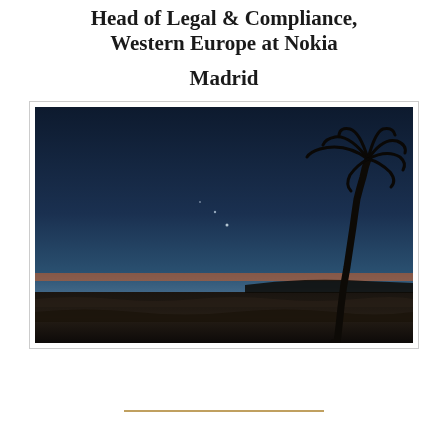Head of Legal & Compliance, Western Europe at Nokia
Madrid
[Figure (photo): Coastal sunset scene with a tall palm tree silhouette on the right side against a dark blue sky gradient fading to orange/red on the horizon, with a dark silhouetted shoreline and water visible at the bottom.]